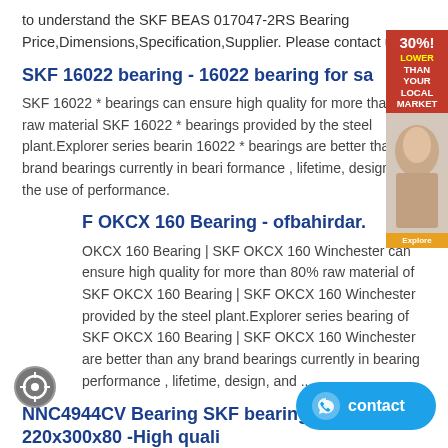to understand the SKF BEAS 017047-2RS Bearing Price,Dimensions,Specification,Supplier. Please contact us.
SKF 16022 bearing - 16022 bearing for sa
SKF 16022 * bearings can ensure high quality for more than 80% raw material SKF 16022 * bearings provided by the steel plant.Explorer series bearing 16022 * bearings are better than any brand bearings currently in bearing performance , lifetime, design, and the use of performance.
F OKCX 160 Bearing - ofbahirdar.
OKCX 160 Bearing | SKF OKCX 160 Winchester can ensure high quality for more than 80% raw material of SKF OKCX 160 Bearing | SKF OKCX 160 Winchester provided by the steel plant.Explorer series bearing of SKF OKCX 160 Bearing | SKF OKCX 160 Winchester are better than any brand bearings currently in bearing performance , lifetime, design, and ...
NNC4944CV Bearing SKF bearing size: 220x300x80 -High quali
SKF NNC4944CV bearing. SKF NNC4944CV, Size: 220x300x80. SKF NNC4944CV are used in a wide variety of applications, they are simple in design, suitable for high speeds and are robust in operation and maintenance.